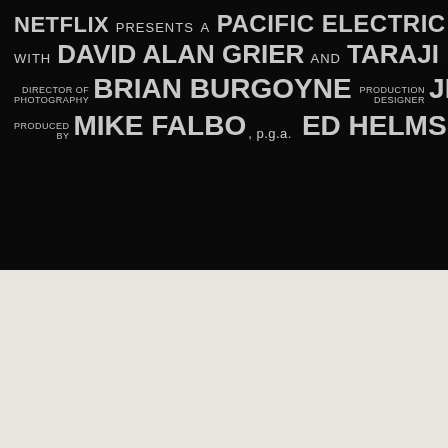[Figure (photo): Movie/show credits title card on black background with light gray text. Top half shows: NETFLIX presents A PACIFIC ELECTRIC PICTURE CO with DAVID ALAN GRIER and TARAJI P. HENSON, DIRECTOR OF PHOTOGRAPHY BRIAN BURGOYNE, PRODUCTION DESIGNER JEREMY, PRODUCED BY MIKE FALBO p.g.a. ED HELMS p.g.a. Bottom half is a cream/off-white blank area.]